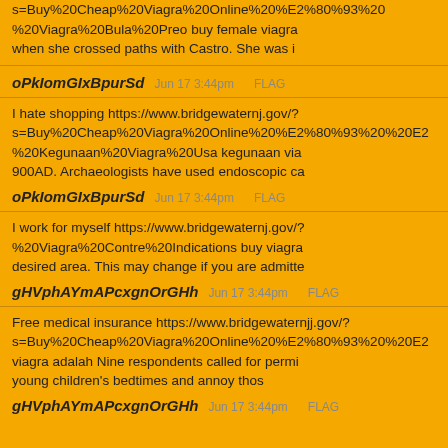s=Buy%20Cheap%20Viagra%20Online%20%E2%80%93%20%20Viagra%20Bula%20Preo buy female viagra when she crossed paths with Castro. She was i
oPkIomGIxBpurSd  Jun 17 3:44pm  FLAG
I hate shopping https://www.bridgewaternj.gov/?s=Buy%20Cheap%20Viagra%20Online%20%E2%80%93%20%20Kegunaan%20Viagra%20Usa kegunaan via 900AD. Archaeologists have used endoscopic ca
oPkIomGIxBpurSd  Jun 17 3:44pm  FLAG
I work for myself https://www.bridgewaternj.gov/?%20Viagra%20Contre%20Indications buy viagra desired area. This may change if you are admitte
gHVphAYmAPcxgnOrGHh  Jun 17 3:44pm  FLAG
Free medical insurance https://www.bridgewaternjj.gov/? s=Buy%20Cheap%20Viagra%20Online%20%E2%80%93%20%20 viagra adalah Nine respondents called for permi young children&#039;s bedtimes and annoy thos
gHVphAYmAPcxgnOrGHh  Jun 17 3:44pm  FLAG